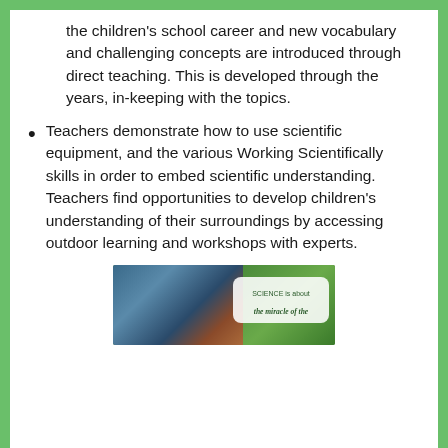the children's school career and new vocabulary and challenging concepts are introduced through direct teaching. This is developed through the years, in-keeping with the topics.
Teachers demonstrate how to use scientific equipment, and the various Working Scientifically skills in order to embed scientific understanding. Teachers find opportunities to develop children's understanding of their surroundings by accessing outdoor learning and workshops with experts.
[Figure (photo): Photo of children outdoors with a science quote overlay reading 'SCIENCE is about the miracle of the...']